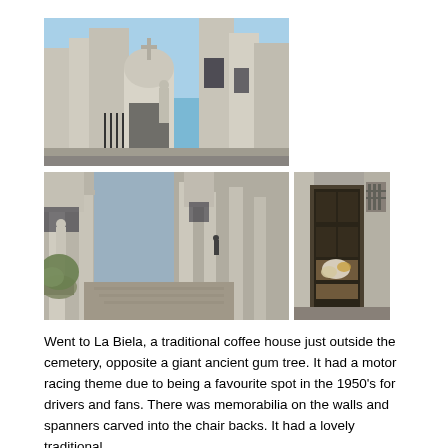[Figure (photo): Photograph of a cemetery with ornate marble mausoleums, statues, iron gates, and crosses against a blue sky — likely Recoleta Cemetery in Buenos Aires.]
[Figure (photo): Photograph of a narrow cemetery alley lined with classical stone columns and mausoleum facades on both sides.]
[Figure (photo): Photograph of a dark bronze cemetery tomb door with flowers and plaques.]
Went to La Biela, a traditional coffee house just outside the cemetery, opposite a giant ancient gum tree. It had a motor racing theme due to being a favourite spot in the 1950's for drivers and fans. There was memorabilia on the walls and spanners carved into the chair backs. It had a lovely traditional Argentinian feel and live entertainment for lunch.